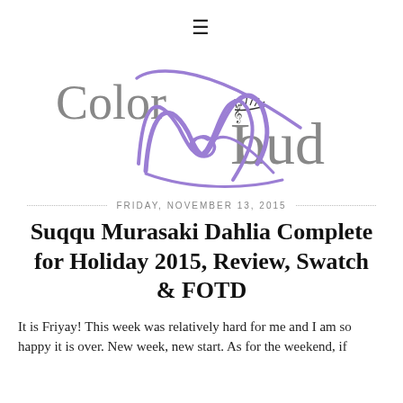≡
[Figure (logo): Color Me Loud blog logo with stylized purple script 'Me' overlapping gray serif 'Color' and 'Loud' text, with small eyelash illustration above 'L']
FRIDAY, NOVEMBER 13, 2015
Suqqu Murasaki Dahlia Complete for Holiday 2015, Review, Swatch & FOTD
It is Friyay! This week was relatively hard for me and I am so happy it is over. New week, new start. As for the weekend, if